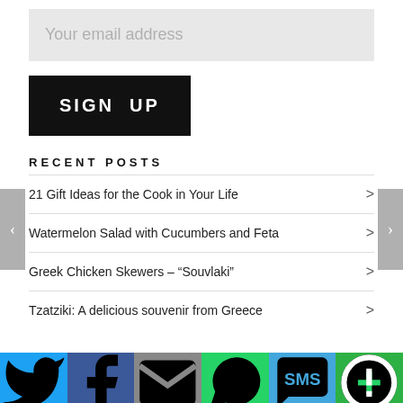Your email address
SIGN UP
RECENT POSTS
21 Gift Ideas for the Cook in Your Life
Watermelon Salad with Cucumbers and Feta
Greek Chicken Skewers – “Souvlaki”
Tzatziki: A delicious souvenir from Greece
[Figure (infographic): Social sharing bar with icons for Twitter, Facebook, Email, WhatsApp, SMS, and More]